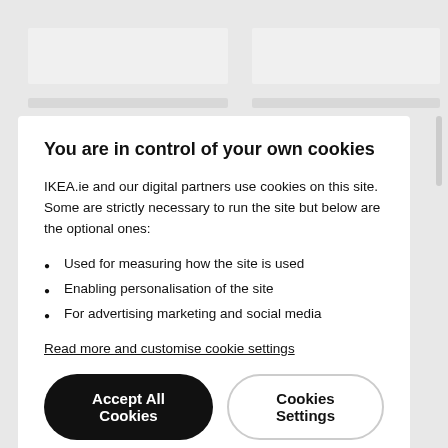You are in control of your own cookies
IKEA.ie and our digital partners use cookies on this site. Some are strictly necessary to run the site but below are the optional ones:
Used for measuring how the site is used
Enabling personalisation of the site
For advertising marketing and social media
Read more and customise cookie settings
Accept All Cookies
Cookies Settings